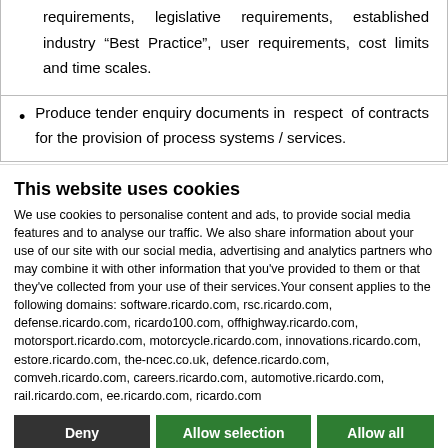requirements, legislative requirements, established industry “Best Practice”, user requirements, cost limits and time scales.
Produce tender enquiry documents in respect of contracts for the provision of process systems / services.
This website uses cookies
We use cookies to personalise content and ads, to provide social media features and to analyse our traffic. We also share information about your use of our site with our social media, advertising and analytics partners who may combine it with other information that you’ve provided to them or that they’ve collected from your use of their services.Your consent applies to the following domains: software.ricardo.com, rsc.ricardo.com, defense.ricardo.com, ricardo100.com, offhighway.ricardo.com, motorsport.ricardo.com, motorcycle.ricardo.com, innovations.ricardo.com, estore.ricardo.com, the-ncec.co.uk, defence.ricardo.com, comveh.ricardo.com, careers.ricardo.com, automotive.ricardo.com, rail.ricardo.com, ee.ricardo.com, ricardo.com